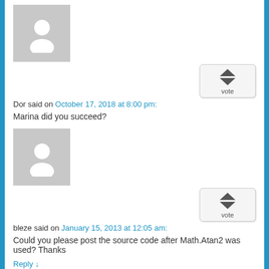[Figure (illustration): Gray placeholder avatar silhouette icon]
[Figure (other): Vote up/down button widget with up and down triangles and 'vote' label]
Dor said on October 17, 2018 at 8:00 pm:
Marina did you succeed?
[Figure (illustration): Gray placeholder avatar silhouette icon]
[Figure (other): Vote up/down button widget with up and down triangles and 'vote' label]
bleze said on January 15, 2013 at 12:05 am:
Could you please post the source code after Math.Atan2 was used? Thanks
Reply ↓
[Figure (photo): Small partial avatar photo at the bottom of the page]